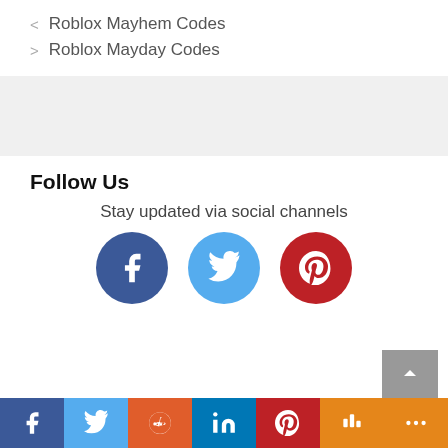< Roblox Mayhem Codes
> Roblox Mayday Codes
Follow Us
Stay updated via social channels
[Figure (other): Social media icons: Facebook (dark blue circle), Twitter (light blue circle), Pinterest (red circle)]
[Figure (other): Share bar at bottom: Facebook, Twitter, Reddit, LinkedIn, Pinterest, Mix, More icons]